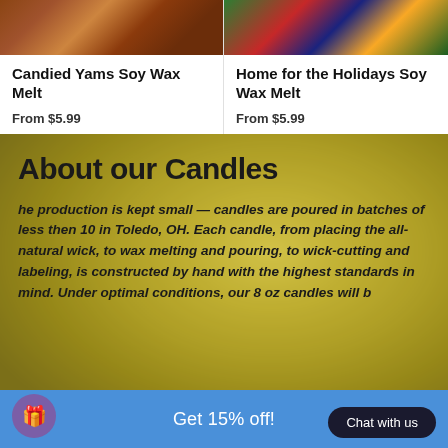[Figure (photo): Food photo of candied yams with pecans, warm brown tones]
[Figure (photo): Holiday photo with Christmas decorations, gifts, green and red tones]
Candied Yams Soy Wax Melt
From $5.99
Home for the Holidays Soy Wax Melt
From $5.99
[Figure (photo): Blurred background photo with yellow/green tones, candle visible]
About our Candles
The production is kept small — candles are poured in batches of less then 10 in Toledo, OH. Each candle, from placing the all-natural wick, to wax melting and pouring, to wick-cutting and labeling, is constructed by hand with the highest standards in mind. Under optimal conditions, our 8 oz candles will b... ...and our 10oz will burn for...
Get 15% off!
Chat with us